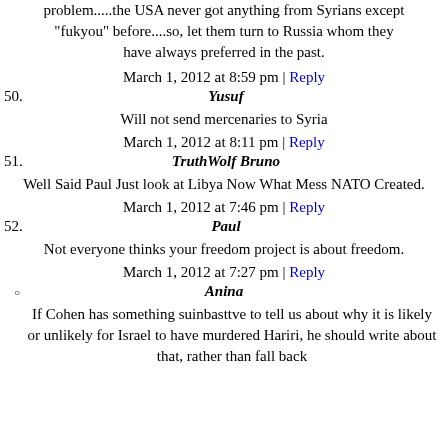problem.....the USA never got anything from Syrians except "fukyou" before....so, let them turn to Russia whom they have always preferred in the past.
March 1, 2012 at 8:59 pm | Reply
50. Yusuf
Will not send mercenaries to Syria
March 1, 2012 at 8:11 pm | Reply
51. TruthWolf Bruno
Well Said Paul Just look at Libya Now What Mess NATO Created.
March 1, 2012 at 7:46 pm | Reply
52. Paul
Not everyone thinks your freedom project is about freedom.
March 1, 2012 at 7:27 pm | Reply
Anina
If Cohen has something suinbasttve to tell us about why it is likely or unlikely for Israel to have murdered Hariri, he should write about that, rather than fall back